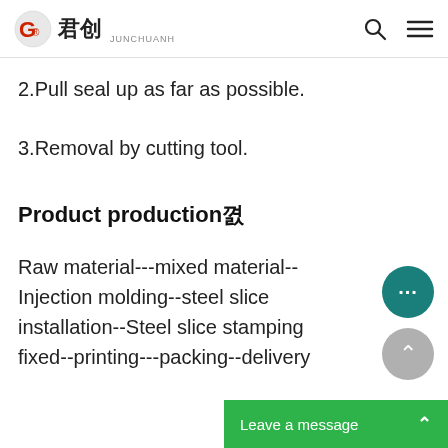君创 JUNCHUANH
2.Pull seal up as far as possible.
3.Removal by cutting tool.
Product production꼀
Raw material---mixed material--Injection molding--steel slice installation--Steel slice stamping fixed--printing---packing--delivery